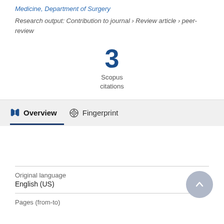Medicine, Department of Surgery
Research output: Contribution to journal › Review article › peer-review
3
Scopus
citations
Overview
Fingerprint
Original language
English (US)
Pages (from-to)